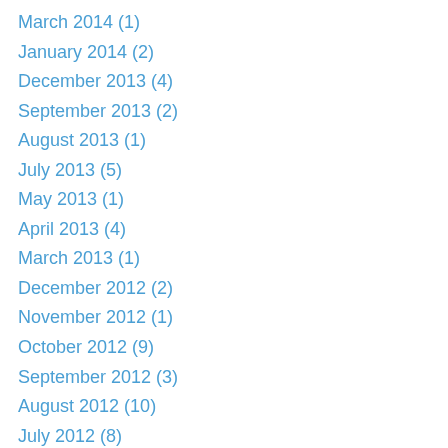March 2014 (1)
January 2014 (2)
December 2013 (4)
September 2013 (2)
August 2013 (1)
July 2013 (5)
May 2013 (1)
April 2013 (4)
March 2013 (1)
December 2012 (2)
November 2012 (1)
October 2012 (9)
September 2012 (3)
August 2012 (10)
July 2012 (8)
June 2012 (20)
May 2012 (31)
April 2012 (35)
March 2012 (53)
February 2012 (66)